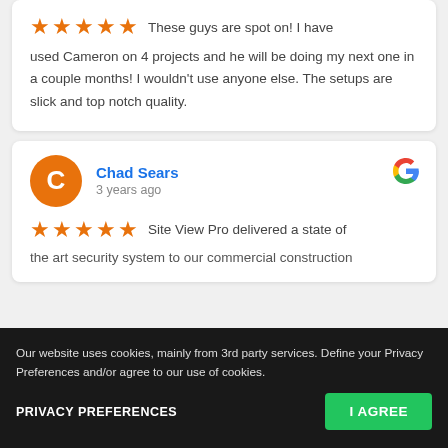These guys are spot on! I have used Cameron on 4 projects and he will be doing my next one in a couple months! I wouldn't use anyone else. The setups are slick and top notch quality.
Chad Sears
3 years ago
Site View Pro delivered a state of the art security system to our commercial construction... We have been able to watch 24/7 for any loss, which... of instant surveillance was beneficial... profit margin on our project. We highly recommend
Our website uses cookies, mainly from 3rd party services. Define your Privacy Preferences and/or agree to our use of cookies.
PRIVACY PREFERENCES
I AGREE